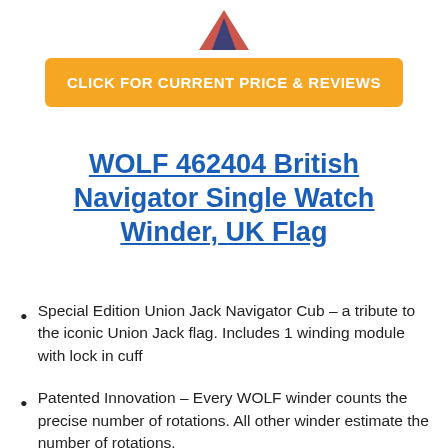[Figure (illustration): Partial image of WOLF British Navigator watch winder product, cropped at top of page showing bottom portion only]
CLICK FOR CURRENT PRICE & REVIEWS
WOLF 462404 British Navigator Single Watch Winder, UK Flag
Special Edition Union Jack Navigator Cub – a tribute to the iconic Union Jack flag. Includes 1 winding module with lock in cuff
Patented Innovation – Every WOLF winder counts the precise number of rotations. All other winder estimate the number of rotations.